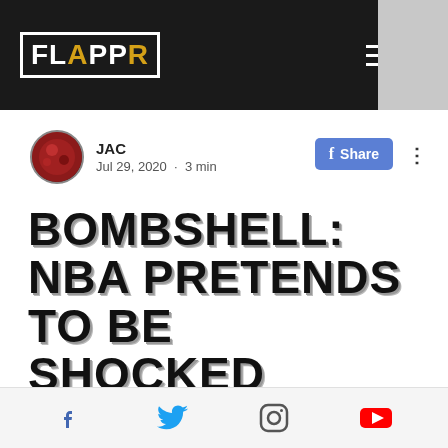FLAPPR
JAC
Jul 29, 2020 · 3 min
BOMBSHELL: NBA PRETENDS TO BE SHOCKED COMMUNIST DICTATORSHIP OPERATES LIKE COMMUNIST DICTATORSHIP